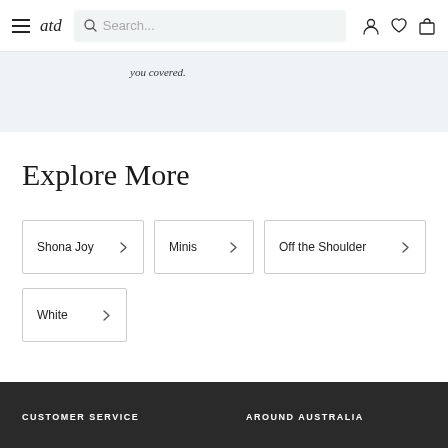atd — navigation bar with hamburger menu, logo, search box, account, wishlist, cart icons
you covered.
Explore More
Shona Joy
Minis
Off the Shoulder
White
CUSTOMER SERVICE   AROUND AUSTRALIA